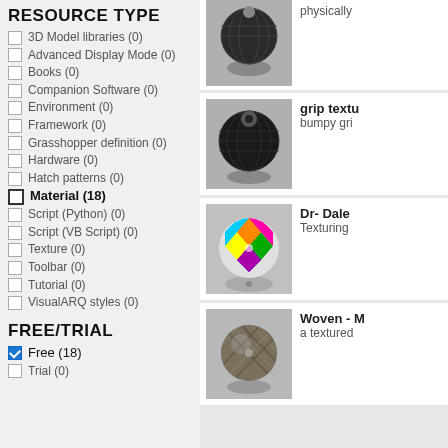RESOURCE TYPE
3D Model libraries (0)
Advanced Display Mode (0)
Books (0)
Companion Software (0)
Environment (0)
Framework (0)
Grasshopper definition (0)
Hardware (0)
Hatch patterns (0)
Material (18)
Script (Python) (0)
Script (VB Script) (0)
Texture (0)
Toolbar (0)
Tutorial (0)
VisualARQ styles (0)
FREE/TRIAL
Free (18)
Trial (0)
[Figure (photo): 3D render of a dark textured sphere on a stand, top partially visible, grayscale]
physically
[Figure (photo): 3D render of a dark bumpy grip-textured sphere on a stand, grayscale]
grip textu
bumpy gri
[Figure (photo): 3D render of a colorful patterned sphere on a stand]
Dr- Dale
Texturing
[Figure (photo): 3D render of a woven metallic textured sphere on a stand]
Woven - M
a textured